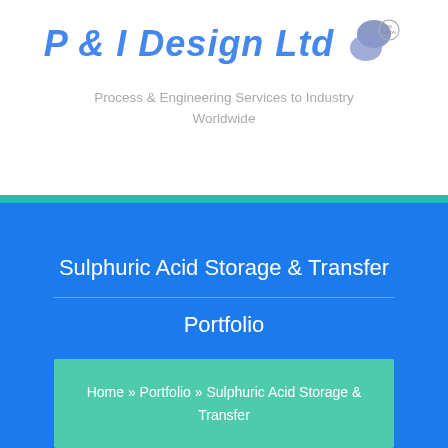[Figure (logo): P & I Design Ltd logo with italic blue text and overlapping oval shapes in blue/grey, with a small badge circle]
Process & Engineering Services to Industry Worldwide
Sulphuric Acid Storage & Transfer
Portfolio
Home » Portfolio » Sulphuric Acid Storage & Transfer